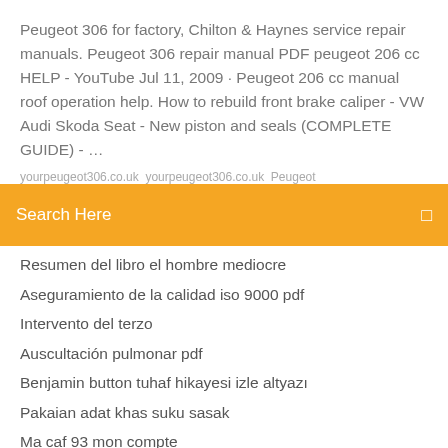Peugeot 306 for factory, Chilton & Haynes service repair manuals. Peugeot 306 repair manual PDF peugeot 206 cc HELP - YouTube Jul 11, 2009 · Peugeot 206 cc manual roof operation help. How to rebuild front brake caliper - VW Audi Skoda Seat - New piston and seals (COMPLETE GUIDE) - ...
yourpeugeot306.co.uk yourpeugeot306.co.uk Peugeot
Search Here
Resumen del libro el hombre mediocre
Aseguramiento de la calidad iso 9000 pdf
Intervento del terzo
Auscultación pulmonar pdf
Benjamin button tuhaf hikayesi izle altyazı
Pakaian adat khas suku sasak
Ma caf 93 mon compte
Contoh laporan bku
Cara buat nol di excel
Interação intermolecular pdf